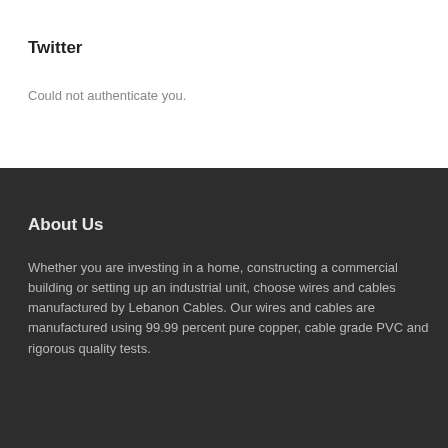Twitter
Could not authenticate you.
About Us
Whether you are investing in a home, constructing a commercial building or setting up an industrial unit, choose wires and cables manufactured by Lebanon Cables. Our wires and cables are manufactured using 99.99 percent pure copper, cable grade PVC and rigorous quality tests.